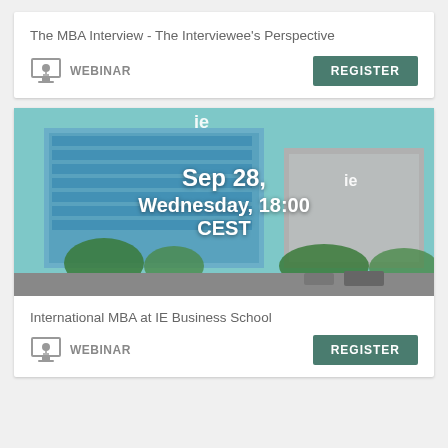The MBA Interview - The Interviewee's Perspective
WEBINAR
REGISTER
[Figure (photo): IE Business School building exterior with glass facade, text overlay showing event date: Sep 28, Wednesday, 18:00 CEST]
International MBA at IE Business School
WEBINAR
REGISTER